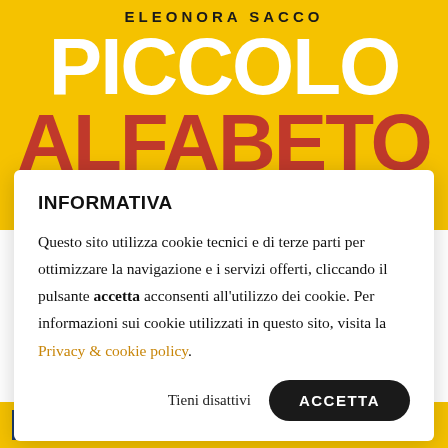[Figure (illustration): Book cover background with yellow color showing author name ELEONORA SACCO and large title text PICCOLO ALFABETO PER in white and red on yellow background]
INFORMATIVA
Questo sito utilizza cookie tecnici e di terze parti per ottimizzare la navigazione e i servizi offerti, cliccando il pulsante accetta acconsenti all’utilizzo dei cookie. Per informazioni sui cookie utilizzati in questo sito, visita la Privacy & cookie policy.
Tieni disattivi    ACCETTA
EA    ENRICO DAMIANI EDITORE